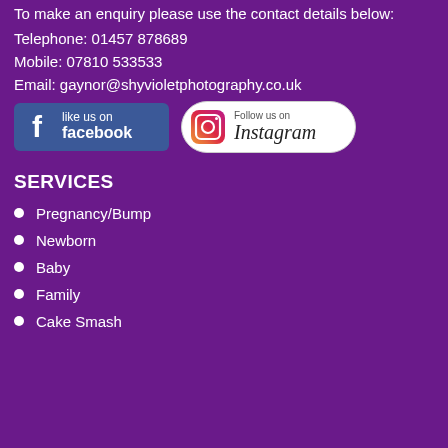To make an enquiry please use the contact details below:
Telephone: 01457 878689
Mobile: 07810 533533
Email: gaynor@shyvioletphotography.co.uk
[Figure (logo): Facebook like us on facebook badge (blue rounded rectangle with white Facebook f icon and text 'like us on facebook')]
[Figure (logo): Follow us on Instagram badge (white rounded rectangle with Instagram gradient icon and text 'Follow us on Instagram')]
SERVICES
Pregnancy/Bump
Newborn
Baby
Family
Cake Smash